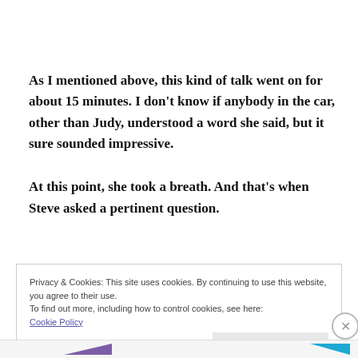As I mentioned above, this kind of talk went on for about 15 minutes. I don't know if anybody in the car, other than Judy, understood a word she said, but it sure sounded impressive.
At this point, she took a breath. And that's when Steve asked a pertinent question.
Privacy & Cookies: This site uses cookies. By continuing to use this website, you agree to their use.
To find out more, including how to control cookies, see here:
Cookie Policy
Close and accept